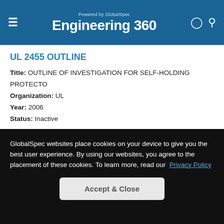Engineering 360 — Powered by GlobalSpec
UL 2455 OUTLINE
Title: OUTLINE OF INVESTIGATION FOR SELF-HOLDING PROTECTO
Organization: UL
Year: 2006
Status: Inactive
UL 2128
Title: UL Standard for Safety Meat and Poultry Plant Equipment
Organization: UL
Year: 2000
Status: Inactive
GlobalSpec websites place cookies on your device to give you the best user experience. By using our websites, you agree to the placement of these cookies. To learn more, read our Privacy Policy
Accept & Close